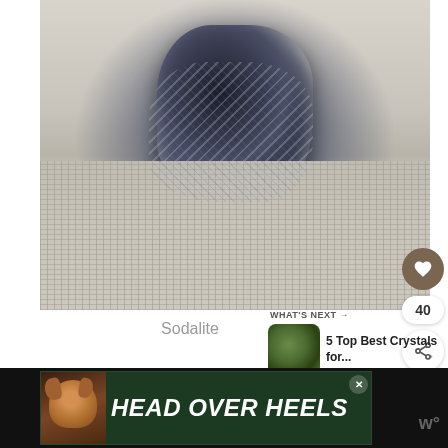[Figure (photo): Close-up photo of a sodalite crystal/rock with dark blue-grey and white mineral patterns, sitting on a textured woven fabric background. Heart/like button (40 likes) and share button overlay on the right side.]
Sodalite
WHAT'S NEXT → 5 Top Best Crystals for...
[Figure (photo): Small thumbnail image of crystals for the 'What's Next' section]
[Figure (other): Advertisement banner: HEAD OVER HEELS with dog photo, dark green background with close button X]